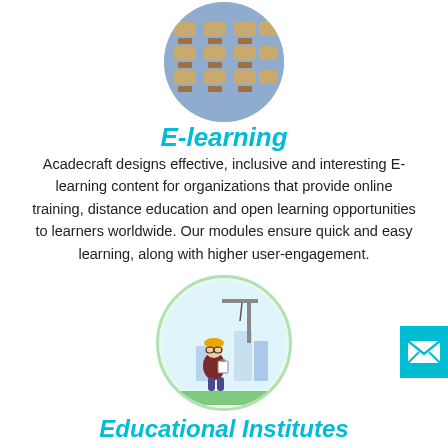[Figure (photo): Circular photo of a classroom with desks and chairs from above]
E-learning
Acadecraft designs effective, inclusive and interesting E-learning content for organizations that provide online training, distance education and open learning opportunities to learners worldwide. Our modules ensure quick and easy learning, along with higher user-engagement.
[Figure (illustration): Circular illustration of a construction worker/engineer with a hard hat holding a clipboard, with a crane and buildings in the background]
Educational Institutes
Acadecraft offers rapid E-learning services to universities, university colleges, higher education institutes, further education institutes, and alternative providers involved in First-cycle programmes,